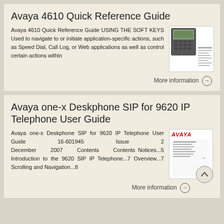Avaya 4610 Quick Reference Guide
Avaya 4610 Quick Reference Guide USING THE SOFT KEYS Used to navigate to or initiate application-specific actions, such as Speed Dial, Call Log, or Web applications as well as control certain actions within
[Figure (photo): Thumbnail image of Avaya 4610 phone and quick reference guide document]
More information →
Avaya one-x Deskphone SIP for 9620 IP Telephone User Guide
Avaya one-x Deskphone SIP for 9620 IP Telephone User Guide 16-601945 Issue 2 December 2007 Contents Contents Notices...5 Introduction to the 9620 SIP IP Telephone...7 Overview...7 Scrolling and Navigation...8
[Figure (photo): Thumbnail image of Avaya branding and user guide document cover]
More information →